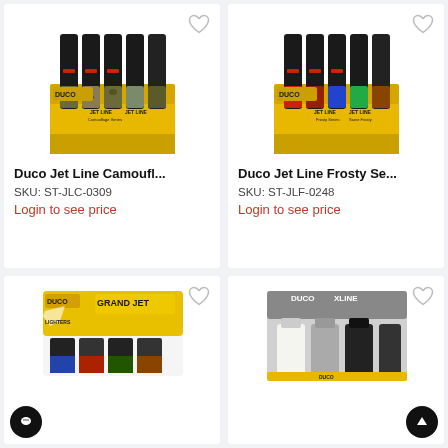[Figure (photo): Duco Jet Line Camouflage Series lighters display box with yellow DUCO branding, multiple black lighters with camo patterns]
Duco Jet Line Camoufl...
SKU: ST-JLC-0309
Login to see price
[Figure (photo): Duco Jet Line Frosty Series lighters display box with yellow DUCO branding, multiple black lighters with colorful bottoms]
Duco Jet Line Frosty Se...
SKU: ST-JLF-0248
Login to see price
[Figure (photo): Duco Grand Jet lighter display box with yellow comic-style branding and colorful decorated lighters]
[Figure (photo): Duco XLINE lighter display box showing grey/white/black lighters in clear packaging]